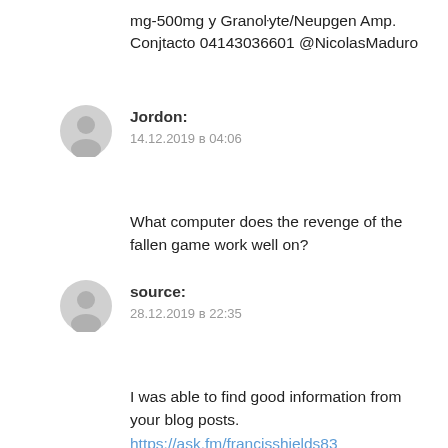mg-500mg y Granoŀyte/Neupgen Amp. Conjtacto 04143036601 @NicolasMaduro
Jordon:
14.12.2019 в 04:06
What computer does the revenge of the fallen game work well on?
source:
28.12.2019 в 22:35
I was able to find good information from your blog posts. https://ask.fm/francisshields83